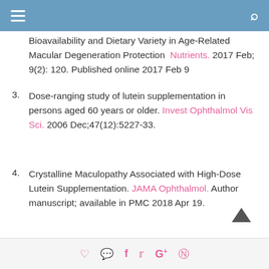≡  [search icon]
Bioavailability and Dietary Variety in Age-Related Macular Degeneration Protection  Nutrients. 2017 Feb; 9(2): 120. Published online 2017 Feb 9
3. Dose-ranging study of lutein supplementation in persons aged 60 years or older. Invest Ophthalmol Vis Sci. 2006 Dec;47(12):5227-33.
4. Crystalline Maculopathy Associated with High-Dose Lutein Supplementation. JAMA Ophthalmol. Author manuscript; available in PMC 2018 Apr 19.
♡ 💬 f 🐦 G+ ⓟ